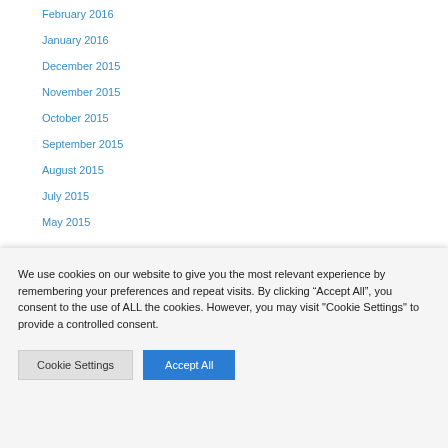February 2016
January 2016
December 2015
November 2015
October 2015
September 2015
August 2015
July 2015
May 2015
We use cookies on our website to give you the most relevant experience by remembering your preferences and repeat visits. By clicking “Accept All”, you consent to the use of ALL the cookies. However, you may visit "Cookie Settings" to provide a controlled consent.
Cookie Settings | Accept All